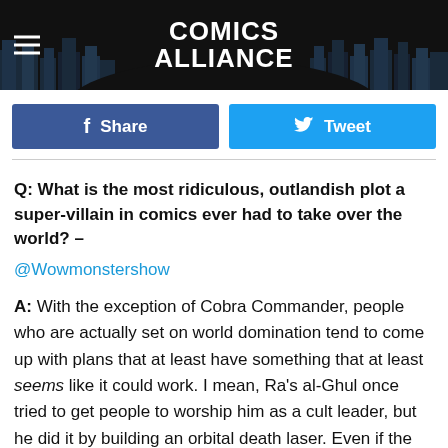Comics Alliance
f Share   Tweet
Q: What is the most ridiculous, outlandish plot a super-villain in comics ever had to take over the world? – @Wowmonstershow
A: With the exception of Cobra Commander, people who are actually set on world domination tend to come up with plans that at least have something that at least seems like it could work. I mean, Ra's al-Ghul once tried to get people to worship him as a cult leader, but he did it by building an orbital death laser. Even if the whole cult thing didn't work out – it didn't –